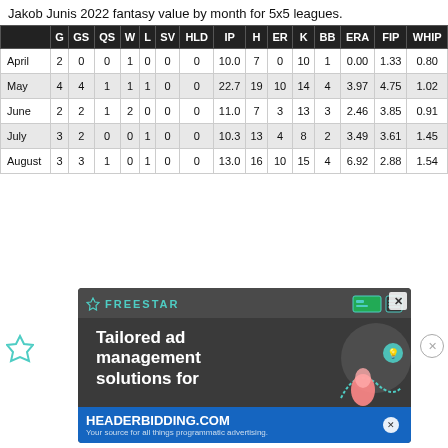Jakob Junis 2022 fantasy value by month for 5x5 leagues.
|  | G | GS | QS | W | L | SV | HLD | IP | H | ER | K | BB | ERA | FIP | WHIP |
| --- | --- | --- | --- | --- | --- | --- | --- | --- | --- | --- | --- | --- | --- | --- | --- |
| April | 2 | 0 | 0 | 1 | 0 | 0 | 0 | 10.0 | 7 | 0 | 10 | 1 | 0.00 | 1.33 | 0.80 |
| May | 4 | 4 | 1 | 1 | 1 | 0 | 0 | 22.7 | 19 | 10 | 14 | 4 | 3.97 | 4.75 | 1.02 |
| June | 2 | 2 | 1 | 2 | 0 | 0 | 0 | 11.0 | 7 | 3 | 13 | 3 | 2.46 | 3.85 | 0.91 |
| July | 3 | 2 | 0 | 0 | 1 | 0 | 0 | 10.3 | 13 | 4 | 8 | 2 | 3.49 | 3.61 | 1.45 |
| August | 3 | 3 | 1 | 0 | 1 | 0 | 0 | 13.0 | 16 | 10 | 15 | 4 | 6.92 | 2.88 | 1.54 |
[Figure (infographic): Freestar advertisement banner showing 'Tailored ad management solutions for...' text with Freestar logo and a HEADERBIDDING.COM sub-banner.]